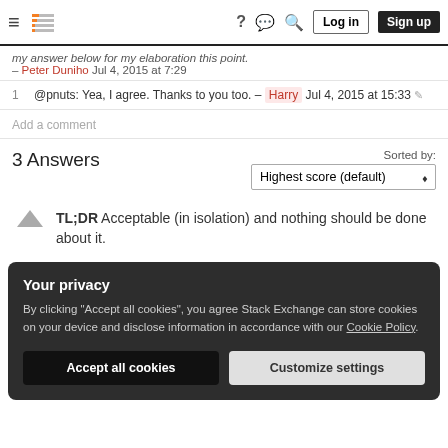Stack Overflow — Log in | Sign up
my answer below for my elaboration this point. – Peter Duniho Jul 4, 2015 at 7:29
1 @pnuts: Yea, I agree. Thanks to you too. – Harry Jul 4, 2015 at 15:33
Add a comment
3 Answers
Sorted by: Highest score (default)
TL;DR Acceptable (in isolation) and nothing should be done about it.
Your privacy
By clicking "Accept all cookies", you agree Stack Exchange can store cookies on your device and disclose information in accordance with our Cookie Policy.
Accept all cookies   Customize settings
insignificant when all rep is of very doubtful value.